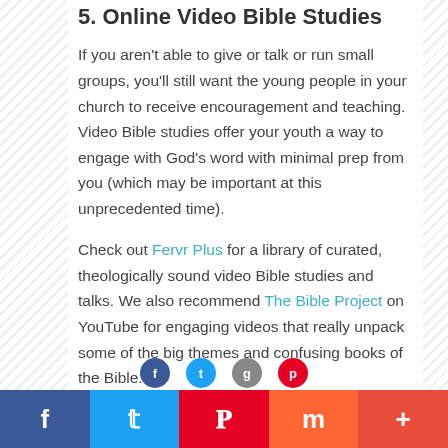5. Online Video Bible Studies
If you aren't able to give or talk or run small groups, you'll still want the young people in your church to receive encouragement and teaching. Video Bible studies offer your youth a way to engage with God's word with minimal prep from you (which may be important at this unprecedented time).
Check out Fervr Plus for a library of curated, theologically sound video Bible studies and talks. We also recommend The Bible Project on YouTube for engaging videos that really unpack some of the big themes and confusing books of the Bible.